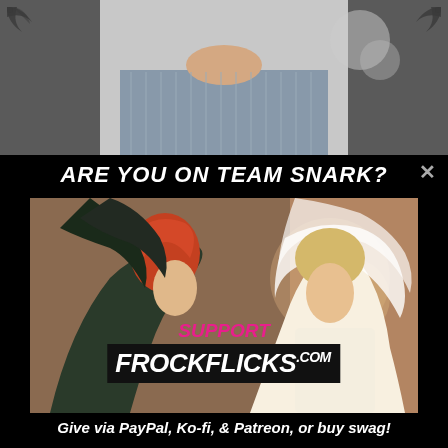[Figure (photo): Partial view of a man in a striped shirt, top portion cropped, shown at top of page behind modal popup]
ARE YOU ON TEAM SNARK?
[Figure (photo): Two women in vintage/period costumes facing each other — one with red hair in a dark hooded cloak, one blonde in a white bridal veil and dress — with 'SUPPORT FROCKFLICKS.com' text overlaid on a black banner]
Give via PayPal, Ko-fi, & Patreon, or buy swag!
obligatory '20s mystery.
[Figure (photo): Partial view of another vintage scene visible at very bottom of page]